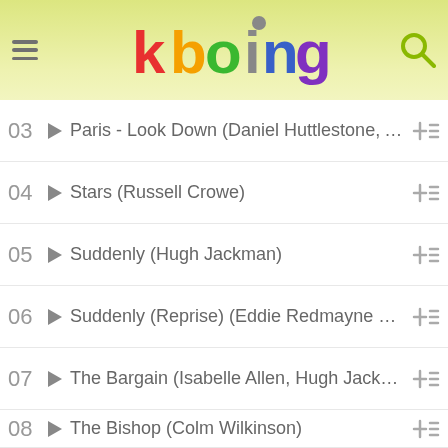kboing
03  Paris - Look Down (Daniel Huttlestone, Aaron ...
04  Stars (Russell Crowe)
05  Suddenly (Hugh Jackman)
06  Suddenly (Reprise) (Eddie Redmayne & Aman...
07  The Bargain (Isabelle Allen, Hugh Jackman, H...
08  The Bishop (Colm Wilkinson)